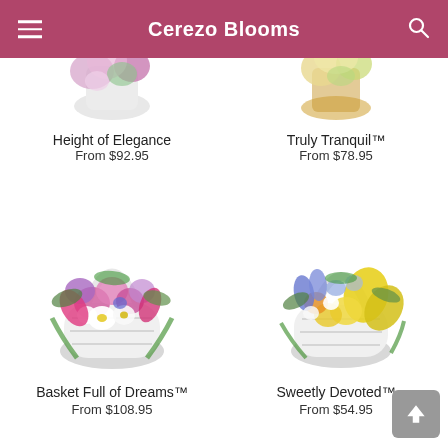Cerezo Blooms
[Figure (photo): Partial top view of Height of Elegance flower arrangement]
Height of Elegance
From $92.95
[Figure (photo): Partial top view of Truly Tranquil flower arrangement]
Truly Tranquil™
From $78.95
[Figure (photo): Basket Full of Dreams - pink and purple flowers in white wicker basket]
Basket Full of Dreams™
From $108.95
[Figure (photo): Sweetly Devoted - yellow and blue flowers in white wicker basket]
Sweetly Devoted™
From $54.95